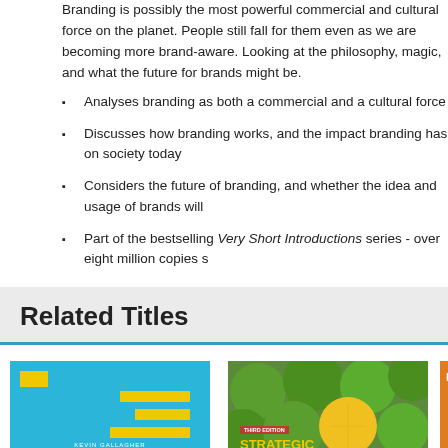Branding is possibly the most powerful commercial and cultural force on the planet. People still fall for them even as we are becoming more brand-aware. Looking at the philosophy, magic, and what the future for brands might be.
Analyses branding as both a commercial and a cultural force
Discusses how branding works, and the impact branding has on society today
Considers the future of branding, and whether the idea and usage of brands will
Part of the bestselling Very Short Introductions series - over eight million copies s
Related Titles
[Figure (photo): Book cover: Essential Study and Employment Skills by Kevin Gallagher, Oxford University Press. Blue cover with yellow horizontal bars and yellow title text.]
[Figure (photo): Book cover: Strategic Advertising Management by Larry Percy and Richard Rosenbaum-Elliott. Cover shows green limes with one yellow lemon, with white and yellow title text.]
[Figure (photo): Book cover: Fundamentals of Marketing (partial view). Orange cover with partial title text visible.]